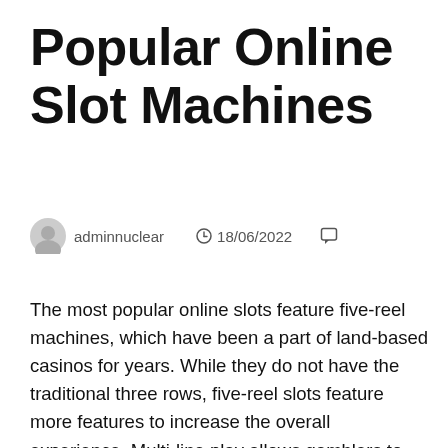Popular Online Slot Machines
adminnuclear   18/06/2022
The most popular online slots feature five-reel machines, which have been a part of land-based casinos for years. While they do not have the traditional three rows, five-reel slots feature more features to increase the overall experience. Multi-line play allows gamblers to place a bet on as many lines as they like, and can increase volatility. Here are some examples of popular slot online machines. Read on to learn more. Slot games are one of the most promising games when it comes